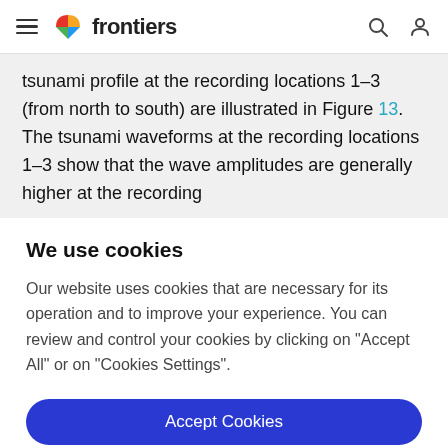frontiers
tsunami profile at the recording locations 1–3 (from north to south) are illustrated in Figure 13. The tsunami waveforms at the recording locations 1–3 show that the wave amplitudes are generally higher at the recording
We use cookies
Our website uses cookies that are necessary for its operation and to improve your experience. You can review and control your cookies by clicking on "Accept All" or on "Cookies Settings".
Accept Cookies
Cookies Settings